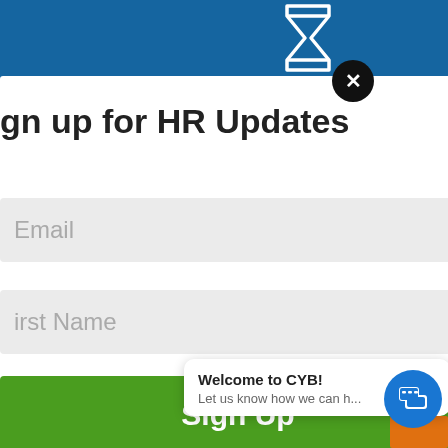[Figure (screenshot): A website screenshot showing a modal popup overlay on top of a blue website background. The modal contains a sign-up form for HR Updates with email and first name fields, a green Sign Up button, and a close (X) button. On the right, partial blue background text is visible. A chat widget popup at the bottom right says 'Welcome to CYB! Let us know how we can h...' with a blue chat icon button.]
gn up for HR Updates
Email
irst Name
Sign Up
e
ive you
o focus
ead of
Welcome to CYB!
Let us know how we can h...